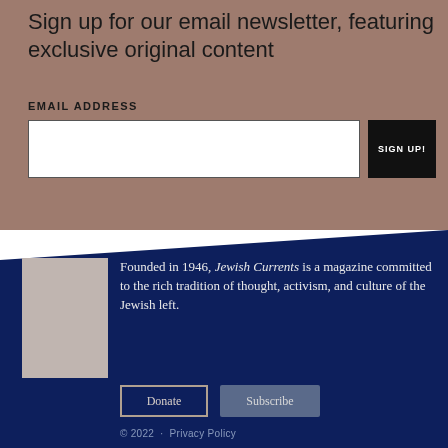Sign up for our email newsletter, featuring exclusive original content
EMAIL ADDRESS
SIGN UP!
[Figure (logo): Jewish Currents magazine cover placeholder image in light taupe/grey color]
Founded in 1946, Jewish Currents is a magazine committed to the rich tradition of thought, activism, and culture of the Jewish left.
Donate
Subscribe
© 2022  ·  Privacy Policy